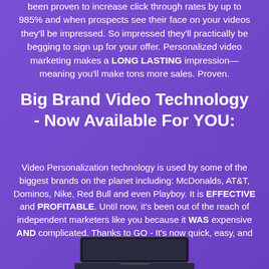been proven to increase click through rates by up to 985% and when prospects see their face on your videos they'll be impressed. So impressed they'll practically be begging to sign up for your offer. Personalized video marketing makes a LONG LASTING impression—meaning you'll make tons more sales. Proven.
Big Brand Video Technology - Now Available For YOU:
Video Personalization technology is used by some of the biggest brands on the planet including: McDonalds, AT&T, Dominos, Nike, Red Bull and even Playboy. It is EFFECTIVE and PROFITABLE. Until now, it's been out of the reach of independent marketers like you because it WAS expensive AND complicated. Thanks to GO - It's now quick, easy, and an INSANELY good value!
[Figure (illustration): Bottom portion of a laptop or device shown at the very bottom of the page]